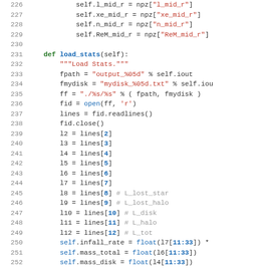[Figure (screenshot): Python source code listing lines 226-255 showing a class method load_stats with file reading and attribute assignment operations.]